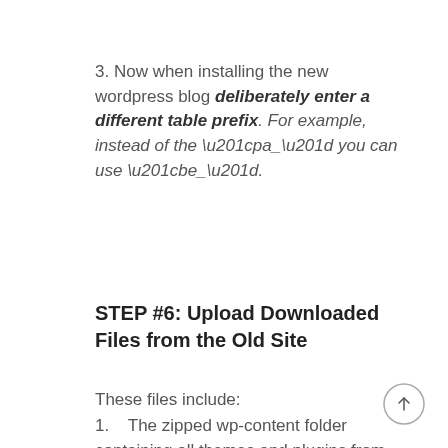3. Now when installing the new wordpress blog deliberately enter a different table prefix. For example, instead of the “pa_” you can use “be_”.
STEP #6: Upload Downloaded Files from the Old Site
These files include:
1.   The zipped wp-content folder containing all themes and plugins from your old